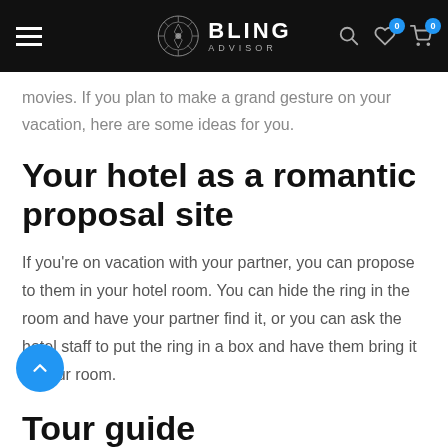BLING ADVISOR
movies. If you plan to make a grand gesture on your vacation, here are some ideas for you.
Your hotel as a romantic proposal site
If you're on vacation with your partner, you can propose to them in your hotel room. You can hide the ring in the room and have your partner find it, or you can ask the hotel staff to put the ring in a box and have them bring it to your room.
Tour guide